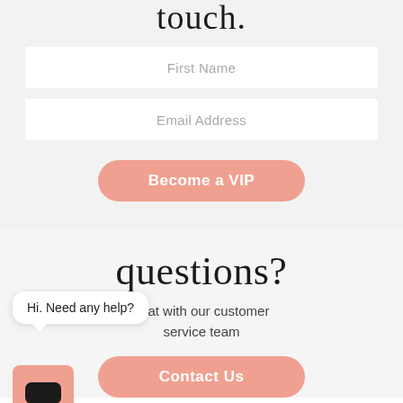touch.
First Name
Email Address
Become a VIP
questions?
Hi. Need any help?
chat with our customer service team
Contact Us